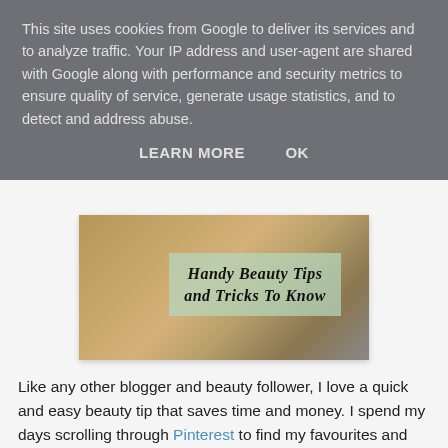This site uses cookies from Google to deliver its services and to analyze traffic. Your IP address and user-agent are shared with Google along with performance and security metrics to ensure quality of service, generate usage statistics, and to detect and address abuse.
LEARN MORE   OK
[Figure (photo): Blog header image showing beauty tools and a wicker basket on a counter, with a semi-transparent green overlay box containing the text 'Handy Beauty Tips and Tricks To Know']
Like any other blogger and beauty follower, I love a quick and easy beauty tip that saves time and money. I spend my days scrolling through Pinterest to find my favourites and putting them to the test.